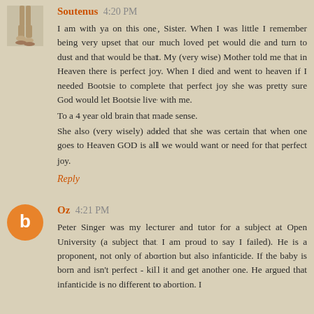[Figure (illustration): Small avatar image of a person's legs/feet in ballet or dance pose, shown from waist down]
Soutenus 4:20 PM
I am with ya on this one, Sister. When I was little I remember being very upset that our much loved pet would die and turn to dust and that would be that. My (very wise) Mother told me that in Heaven there is perfect joy. When I died and went to heaven if I needed Bootsie to complete that perfect joy she was pretty sure God would let Bootsie live with me.
To a 4 year old brain that made sense.
She also (very wisely) added that she was certain that when one goes to Heaven GOD is all we would want or need for that perfect joy.
Reply
[Figure (illustration): Orange circle avatar with white letter B in the center]
Oz 4:21 PM
Peter Singer was my lecturer and tutor for a subject at Open University (a subject that I am proud to say I failed). He is a proponent, not only of abortion but also infanticide. If the baby is born and isn't perfect - kill it and get another one. He argued that infanticide is no different to abortion. I